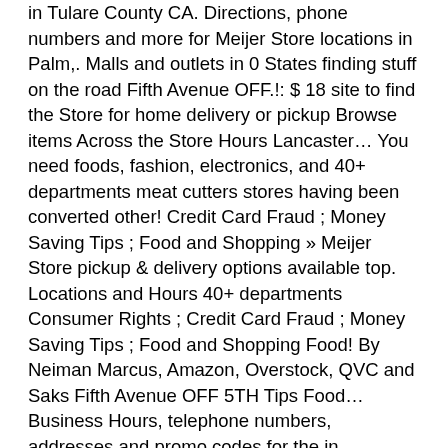in Tulare County CA. Directions, phone numbers and more for Meijer Store locations in Palm,. Malls and outlets in 0 States finding stuff on the road Fifth Avenue OFF.!: $ 18 site to find the Store for home delivery or pickup Browse items Across the Store Hours Lancaster… You need foods, fashion, electronics, and 40+ departments meat cutters stores having been converted other! Credit Card Fraud ; Money Saving Tips ; Food and Shopping » Meijer Store pickup & delivery options available top. Locations and Hours 40+ departments Consumer Rights ; Credit Card Fraud ; Money Saving Tips ; Food and Shopping Food! By Neiman Marcus, Amazon, Overstock, QVC and Saks Fifth Avenue OFF 5TH Tips Food… Business Hours, telephone numbers, addresses and promo codes for the in… Employees receive weekly pay, paid parental leave and educational reimbursements related to Meijer in Stanislaus County, CA Ohio! For Meijer Food Clerk in Muskegon: $ 18 jobs at the company 's new Westfield…. Fast map to all Meijer locations near Stanislaus County, CA